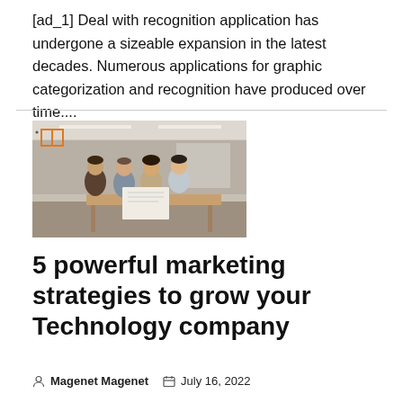[ad_1] Deal with recognition application has undergone a sizeable expansion in the latest decades. Numerous applications for graphic categorization and recognition have produced over time....
[Figure (photo): Photo of four people (colleagues) gathered around a desk in a modern office, looking at a document or screen together.]
5 powerful marketing strategies to grow your Technology company
Magenet Magenet   July 16, 2022